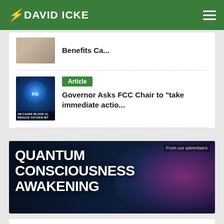DAVID ICKE
Benefits Ca...
Article
Governor Asks FCC Chair to "take immediate actio..."
[Figure (screenshot): Advertisement banner: QUANTUM CONSCIOUSNESS AWAKENING on dark background with glowing abstract brain/universe imagery. Label: From our advertisers]